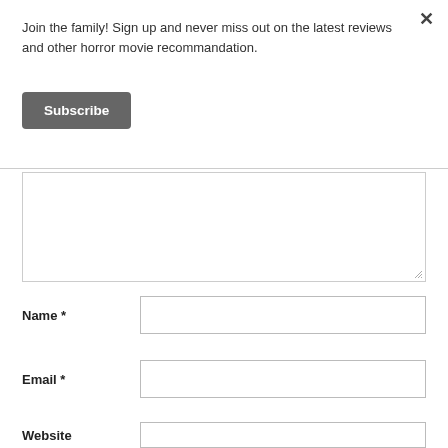Join the family! Sign up and never miss out on the latest reviews and other horror movie recommandation.
Subscribe
Name *
Email *
Website